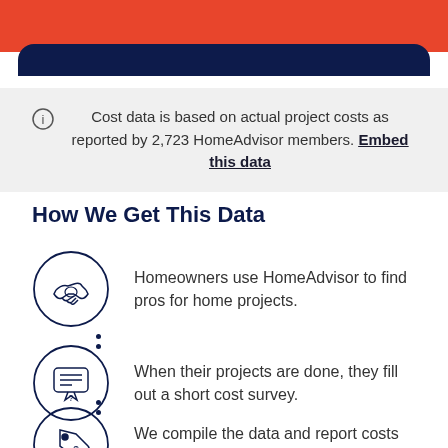[Figure (illustration): Orange header banner with navy rounded bar below]
Cost data is based on actual project costs as reported by 2,723 HomeAdvisor members. Embed this data
How We Get This Data
Homeowners use HomeAdvisor to find pros for home projects.
When their projects are done, they fill out a short cost survey.
We compile the data and report costs back to you.